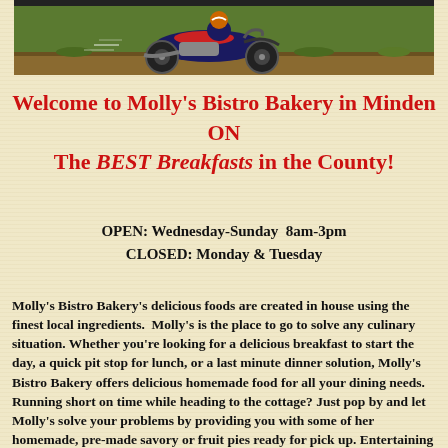[Figure (illustration): Cartoon illustration of a vintage motorcycle or bicycle on a road with green background, framed with dark border at top of page]
Welcome to Molly's Bistro Bakery in Minden ON
The BEST Breakfasts in the County!
OPEN: Wednesday-Sunday  8am-3pm
CLOSED: Monday & Tuesday
Molly's Bistro Bakery's delicious foods are created in house using the finest local ingredients.  Molly's is the place to go to solve any culinary situation. Whether you're looking for a delicious breakfast to start the day, a quick pit stop for lunch, or a last minute dinner solution, Molly's Bistro Bakery offers delicious homemade food for all your dining needs.
Running short on time while heading to the cottage? Just pop by and let Molly's solve your problems by providing you with some of her homemade, pre-made savory or fruit pies ready for pick up. Entertaining guests over the weekend?